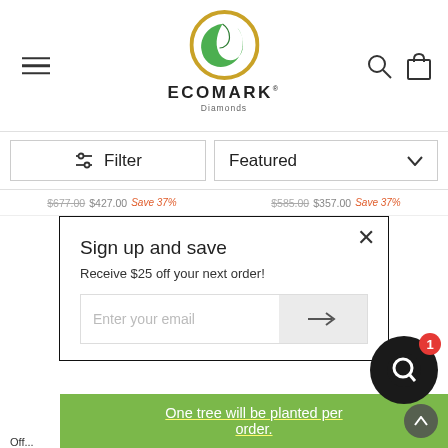[Figure (logo): Ecomark Diamonds logo: green leaf in a gold circular ring, with ECOMARK in bold uppercase and Diamonds below in smaller text]
Filter
Featured
$677.00  $427.00  Save 37%
$585.00  $357.00  Save 37%
Sign up and save
Receive $25 off your next order!
Enter your email
One tree will be planted per order.
Off...